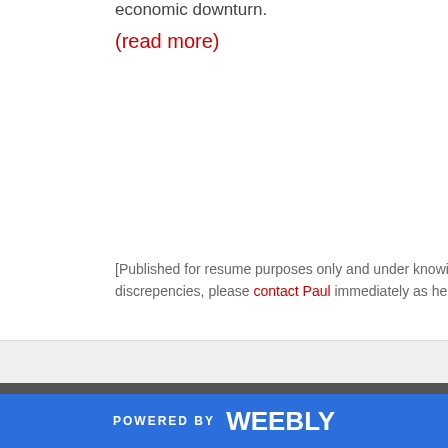economic downturn.
(read more)
[Published for resume purposes only and under knowing adher... discrepencies, please contact Paul immediately as he will gladl...
POWERED BY weebly